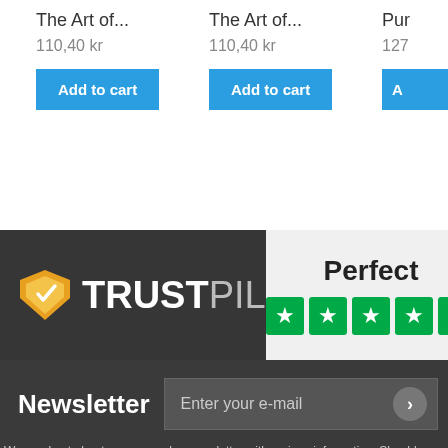The Art of...
110,40 kr
Add to cart
The Art of...
110,40 kr
Add to cart
Pur...
127...
[Figure (logo): Trustpilot logo with shield icon on dark background]
Perfect
[Figure (other): Five green star rating boxes]
Newsletter
Enter your e-mail
We send out about once a week a newsletter with various information. Should you regret your subscription, it is easy to cancel it again, and we guarantee that we will never disclose your information to others.
Categories
Information